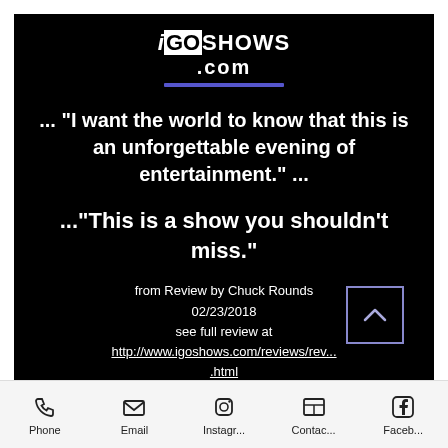[Figure (logo): iGO SHOWS .com logo with purple underline on black background]
... "I want the world to know that this is an unforgettable evening of entertainment." ...
..."This is a show you shouldn't miss."
from Review by Chuck Rounds
02/23/2018
see full review at
http://www.igoshows.com/reviews/rev....html
Phone  Email  Instagr...  Contac...  Faceb...